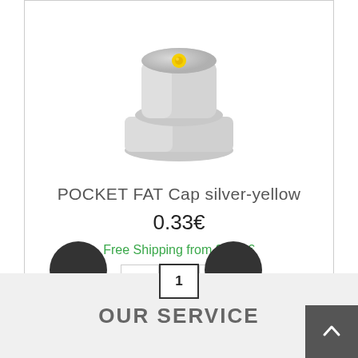[Figure (photo): Silver spray cap nozzle with yellow dot, product photo on white background]
POCKET FAT Cap silver-yellow
0.33€
Free Shipping from 99.00€
« 1 »
OUR SERVICE